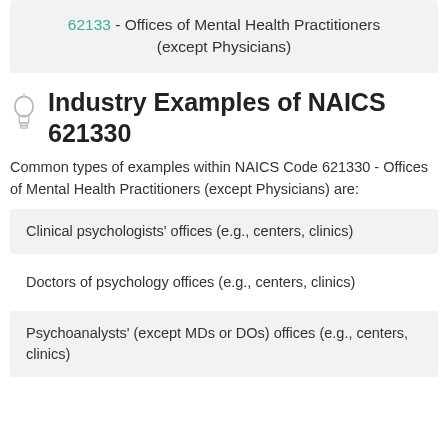62133 - Offices of Mental Health Practitioners (except Physicians)
Industry Examples of NAICS 621330
Common types of examples within NAICS Code 621330 - Offices of Mental Health Practitioners (except Physicians) are:
Clinical psychologists' offices (e.g., centers, clinics)
Doctors of psychology offices (e.g., centers, clinics)
Psychoanalysts' (except MDs or DOs) offices (e.g., centers, clinics)